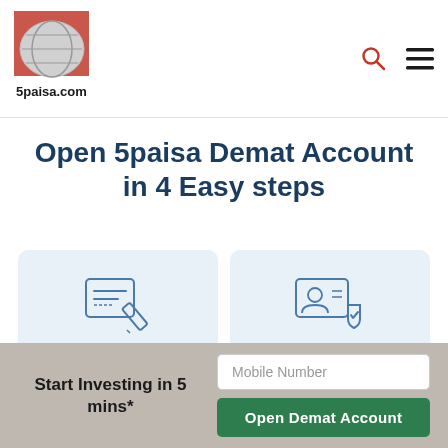5paisa.com
Open 5paisa Demat Account in 4 Easy steps
[Figure (illustration): Icon of a document/form with a pencil, representing PAN and Bank details entry]
1 Enter PAN and Bank details
[Figure (illustration): Icon of a person profile with a shield/verification badge, representing Aadhaar and Digilocker]
2 Enter Aadhaar and link it through Digilocker
Start Investing in 5 mins*
Mobile Number
Open Demat Account